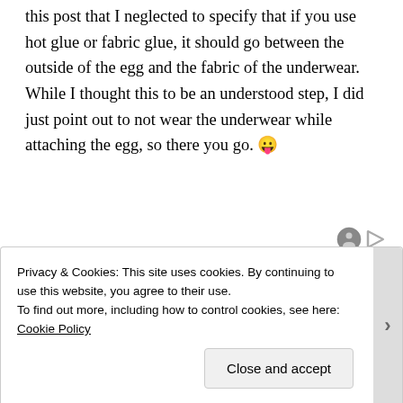this post that I neglected to specify that if you use hot glue or fabric glue, it should go between the outside of the egg and the fabric of the underwear.  While I thought this to be an understood step, I did just point out to not wear the underwear while attaching the egg, so there you go. 😛
[Figure (other): Small circular avatar icon and a play/forward button icon in the lower right area of the page]
Privacy & Cookies: This site uses cookies. By continuing to use this website, you agree to their use.
To find out more, including how to control cookies, see here: Cookie Policy
Close and accept